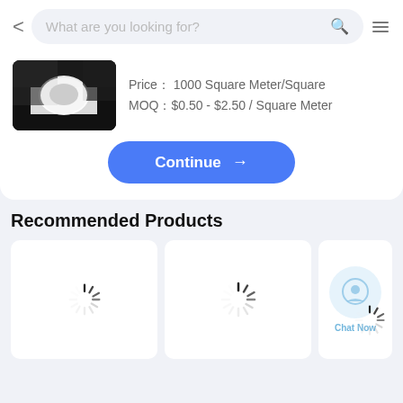What are you looking for?
Price： 1000 Square Meter/Square
MOQ：$0.50 - $2.50 / Square Meter
[Figure (screenshot): Product thumbnail showing a roll of white material on black background]
Continue →
Recommended Products
[Figure (screenshot): Loading spinner in white product tile]
[Figure (screenshot): Loading spinner in white product tile]
[Figure (screenshot): Loading spinner with Chat Now overlay in partial product tile]